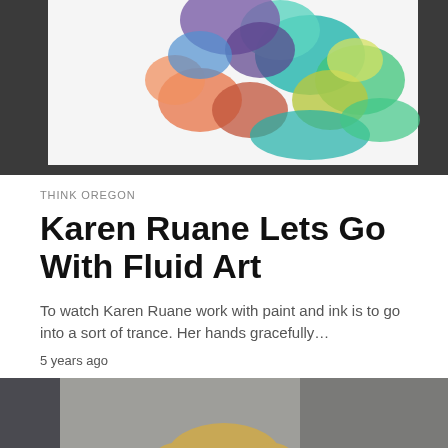[Figure (photo): Close-up photo of colorful fluid art painting with swirls of teal, orange, green, and purple ink on white paper, displayed on a dark surface]
THINK OREGON
Karen Ruane Lets Go With Fluid Art
To watch Karen Ruane work with paint and ink is to go into a sort of trance. Her hands gracefully…
5 years ago
[Figure (photo): Portrait photo of an older woman with short blonde hair wearing glasses, a teal blouse, and a colorful patterned vest, looking at the camera with a slight smile]